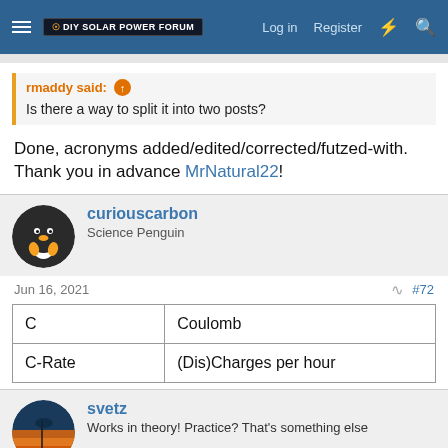DIY Solar Power Forum | Log in | Register
rmaddy said: ↑
Is there a way to split it into two posts?
Done, acronyms added/edited/corrected/futzed-with. Thank you in advance MrNatural22!
curiouscarbon
Science Penguin
Jun 16, 2021
#72
| C | Coulomb |
| C-Rate | (Dis)Charges per hour |
svetz
Works in theory! Practice? That's something else